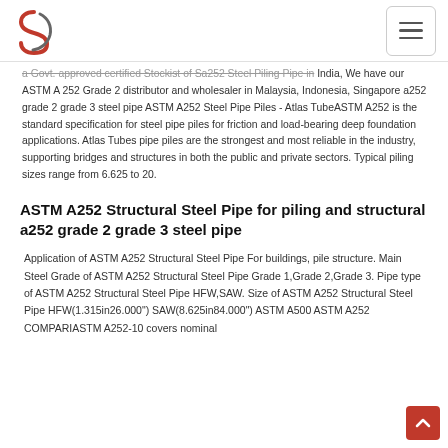[Logo] [Navigation menu button]
a Govt. approved certified Stockist of Sa252 Steel Piling Pipe in India, We have our ASTM A 252 Grade 2 distributor and wholesaler in Malaysia, Indonesia, Singapore a252 grade 2 grade 3 steel pipe ASTM A252 Steel Pipe Piles - Atlas TubeASTM A252 is the standard specification for steel pipe piles for friction and load-bearing deep foundation applications. Atlas Tubes pipe piles are the strongest and most reliable in the industry, supporting bridges and structures in both the public and private sectors. Typical piling sizes range from 6.625 to 20.
ASTM A252 Structural Steel Pipe for piling and structural a252 grade 2 grade 3 steel pipe
Application of ASTM A252 Structural Steel Pipe For buildings, pile structure. Main Steel Grade of ASTM A252 Structural Steel Pipe Grade 1,Grade 2,Grade 3. Pipe type of ASTM A252 Structural Steel Pipe HFW,SAW. Size of ASTM A252 Structural Steel Pipe HFW(1.315in26.000") SAW(8.625in84.000") ASTM A500 ASTM A252 COMPARIASTM A252-10 covers nominal